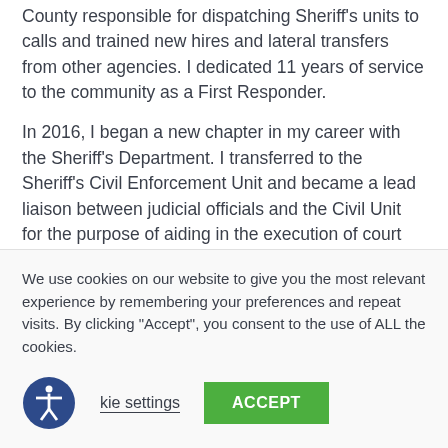County responsible for dispatching Sheriff's units to calls and trained new hires and lateral transfers from other agencies. I dedicated 11 years of service to the community as a First Responder.
In 2016, I began a new chapter in my career with the Sheriff's Department. I transferred to the Sheriff's Civil Enforcement Unit and became a lead liaison between judicial officials and the Civil Unit for the purpose of aiding in the execution of court granted judgments and civil orders. As my knowledge of civil
We use cookies on our website to give you the most relevant experience by remembering your preferences and repeat visits. By clicking "Accept", you consent to the use of ALL the cookies.
kie settings
ACCEPT